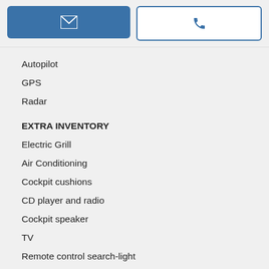[Figure (other): Email button (filled blue with envelope icon) and Phone button (white with blue border and phone icon)]
Autopilot
GPS
Radar
EXTRA INVENTORY
Electric Grill
Air Conditioning
Cockpit cushions
CD player and radio
Cockpit speaker
TV
Remote control search-light
Cockpit cover
adjustable telescopic Hi-Lo cockpit table
Hydraulic Swim Platform with room for Jet Ski and reinforced for 400 KG weight